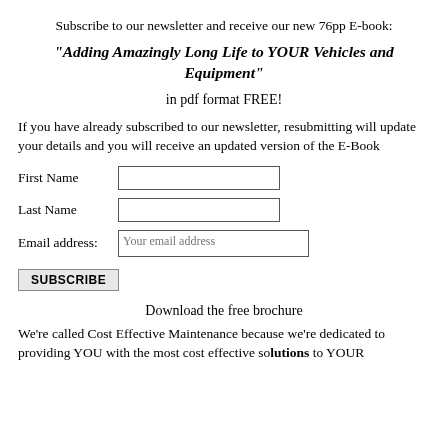Subscribe to our newsletter and receive our new 76pp E-book:
"Adding Amazingly Long Life to YOUR Vehicles and Equipment"
in pdf format FREE!
If you have already subscribed to our newsletter, resubmitting will update your details and you will receive an updated version of the E-Book
First Name [input field]
Last Name [input field]
Email address: [Your email address]
SUBSCRIBE
Download the free brochure
We're called Cost Effective Maintenance because we're dedicated to providing YOU with the most cost effective solutions to YOUR